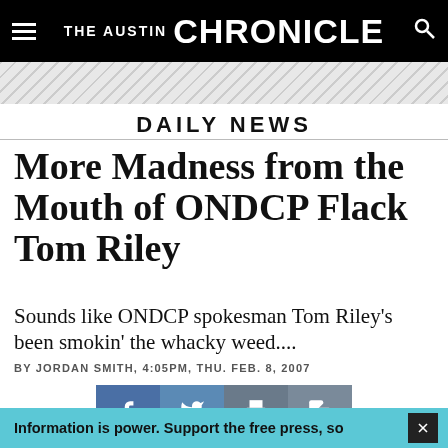THE AUSTIN CHRONICLE
[Figure (other): Diagonal striped decorative band below header]
DAILY NEWS
More Madness from the Mouth of ONDCP Flack Tom Riley
Sounds like ONDCP spokesman Tom Riley's been smokin' the whacky weed....
BY JORDAN SMITH, 4:05PM, THU. FEB. 8, 2007
[Figure (infographic): Social sharing buttons: Facebook, Twitter, Print, Copy]
Information is power. Support the free press, so